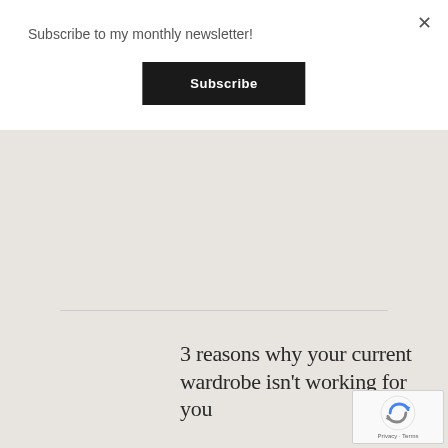Subscribe to my monthly newsletter!
Subscribe
3 reasons why your current wardrobe isn't working for you
27. APRIL 2022
[Figure (logo): reCAPTCHA badge with Privacy and Terms links]